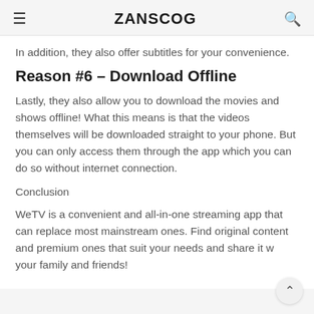ZANSCOG
In addition, they also offer subtitles for your convenience.
Reason #6 – Download Offline
Lastly, they also allow you to download the movies and shows offline! What this means is that the videos themselves will be downloaded straight to your phone. But you can only access them through the app which you can do so without internet connection.
Conclusion
WeTV is a convenient and all-in-one streaming app that can replace most mainstream ones. Find original content and premium ones that suit your needs and share it with your family and friends!